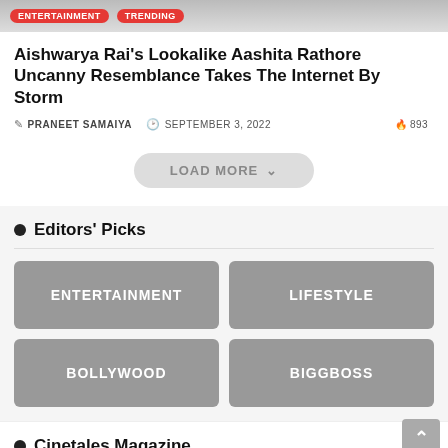[Figure (photo): Top image banner with ENTERTAINMENT and TRENDING red pill tags overlaid]
Aishwarya Rai's Lookalike Aashita Rathore Uncanny Resemblance Takes The Internet By Storm
PRANEET SAMAIYA  SEPTEMBER 3, 2022  893
LOAD MORE
Editors' Picks
ENTERTAINMENT
LIFESTYLE
BOLLYWOOD
BIGGBOSS
Cinetales Magazine